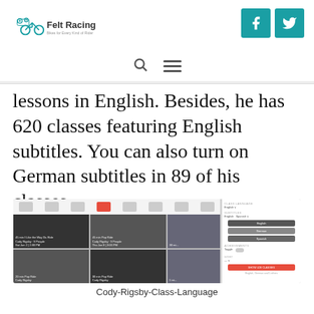Felt Racing — navigation header with logo and social icons
lessons in English. Besides, he has 620 classes featuring English subtitles. You can also turn on German subtitles in 89 of his classes.
[Figure (screenshot): Screenshot of a Peloton class filter interface showing a grid of cycling class thumbnails and a sidebar with language, subtitles, and sort options including English, German, and Spanish subtitle buttons and a red 'Show 428 Classes' button.]
Cody-Rigsby-Class-Language